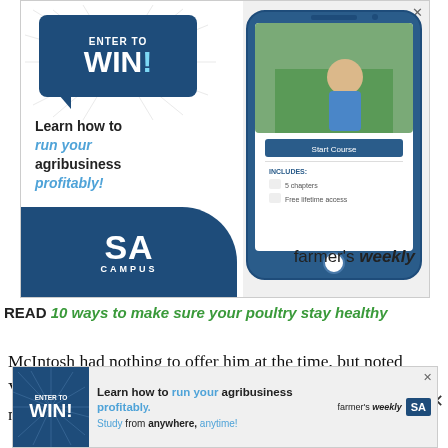[Figure (illustration): Advertisement banner for SA Campus / Farmer's Weekly: 'Enter to Win! Learn how to run your agribusiness profitably!' with smartphone mockup showing app interface, SA Campus logo, and Farmer's Weekly branding.]
READ 10 ways to make sure your poultry stay healthy
McIntosh had nothing to offer him at the time, but noted Vergotine's enthusiasm. When the position for a maintenance technician became available at Spier,
[Figure (illustration): Bottom advertisement banner for SA Campus / Farmer's Weekly: 'Learn how to run your agribusiness profitably! Study from anywhere, anytime!' with Enter to Win badge and logos.]